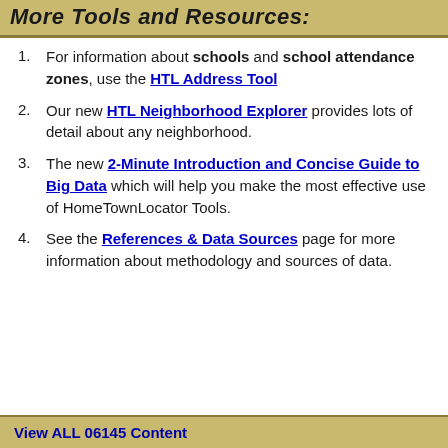More Tools and Resources:
For information about schools and school attendance zones, use the HTL Address Tool
Our new HTL Neighborhood Explorer provides lots of detail about any neighborhood.
The new 2-Minute Introduction and Concise Guide to Big Data which will help you make the most effective use of HomeTownLocator Tools.
See the References & Data Sources page for more information about methodology and sources of data.
View ALL 06145 Content